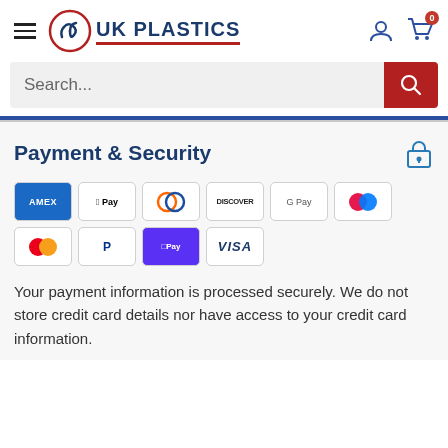UK Plastics
[Figure (screenshot): Search bar with red search button]
Payment & Security
[Figure (infographic): Payment method icons: Amex, Apple Pay, Diners Club, Discover, Google Pay, Maestro, Mastercard, PayPal, Shop Pay, Visa]
Your payment information is processed securely. We do not store credit card details nor have access to your credit card information.